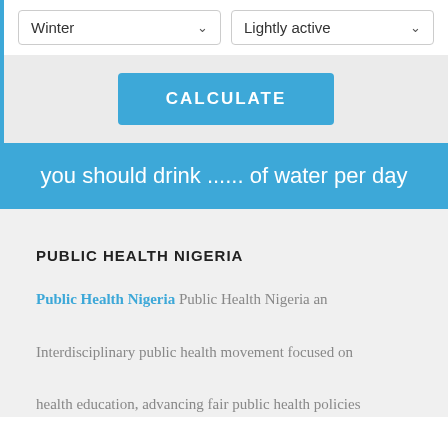[Figure (screenshot): Two dropdown menus side by side: 'Winter' and 'Lightly active' with chevron indicators]
[Figure (screenshot): Calculate button in blue, on a light grey background bar]
you should drink ...... of water per day
PUBLIC HEALTH NIGERIA
Public Health Nigeria Public Health Nigeria an Interdisciplinary public health movement focused on health education, advancing fair public health policies